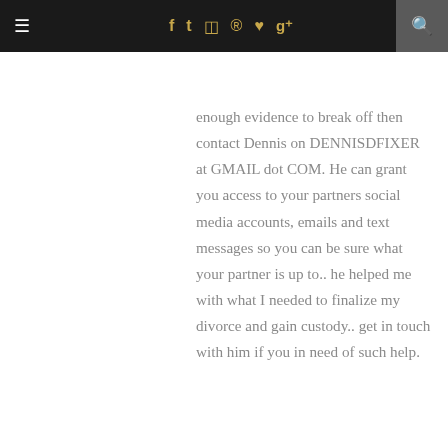≡  f  t  ⊡  ®  ♥  g+  🔍
enough evidence to break off then contact Dennis on DENNISDFIXER at GMAIL dot COM. He can grant you access to your partners social media accounts, emails and text messages so you can be sure what your partner is up to.. he helped me with what I needed to finalize my divorce and gain custody.. get in touch with him if you in need of such help.